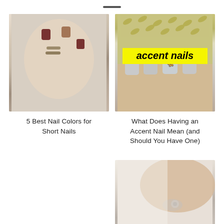[Figure (photo): Hand wearing fingerless knit glove with dark burgundy and nude nail polish and multiple rings]
[Figure (photo): Close-up of nails with grey marble-style polish and butterfly accent nail art, yellow banner overlay reading 'accent nails']
5 Best Nail Colors for Short Nails
What Does Having an Accent Nail Mean (and Should You Have One)
[Figure (photo): Partial view of hands with nail treatment, bottom right card, partially cut off]